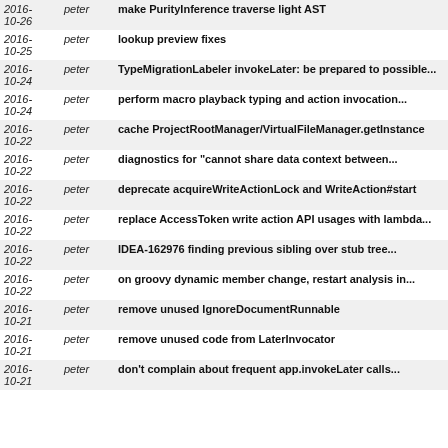| date | author | message |
| --- | --- | --- |
| 2016-10-26 | peter | make PurityInference traverse light AST |
| 2016-10-25 | peter | lookup preview fixes |
| 2016-10-24 | peter | TypeMigrationLabeler invokeLater: be prepared to possible... |
| 2016-10-24 | peter | perform macro playback typing and action invocation... |
| 2016-10-22 | peter | cache ProjectRootManager/VirtualFileManager.getInstance |
| 2016-10-22 | peter | diagnostics for "cannot share data context between... |
| 2016-10-22 | peter | deprecate acquireWriteActionLock and WriteAction#start |
| 2016-10-22 | peter | replace AccessToken write action API usages with lambda... |
| 2016-10-22 | peter | IDEA-162976 finding previous sibling over stub tree... |
| 2016-10-22 | peter | on groovy dynamic member change, restart analysis in... |
| 2016-10-21 | peter | remove unused IgnoreDocumentRunnable |
| 2016-10-21 | peter | remove unused code from LaterInvocator |
| 2016-10-21 | peter | don't complain about frequent app.invokeLater calls... |